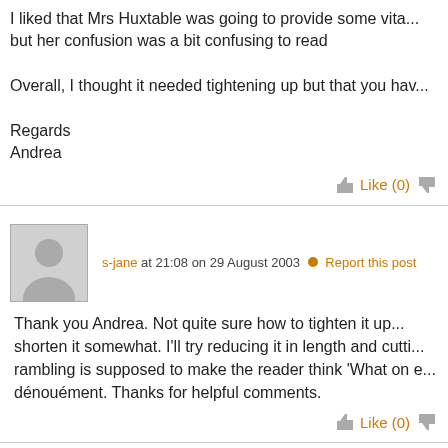I liked that Mrs Huxtable was going to provide some vita... but her confusion was a bit confusing to read
Overall, I thought it needed tightening up but that you hav...
Regards
Andrea
Like (0)
s-jane at 21:08 on 29 August 2003 • Report this post
Thank you Andrea. Not quite sure how to tighten it up... shorten it somewhat. I'll try reducing it in length and cutti... rambling is supposed to make the reader think 'What on e... dénouément. Thanks for helpful comments.
Like (0)
s-jane at 12:02 on 30 August 2003 • Report this post
I know Andrea is right in saying I need to tighten thi...